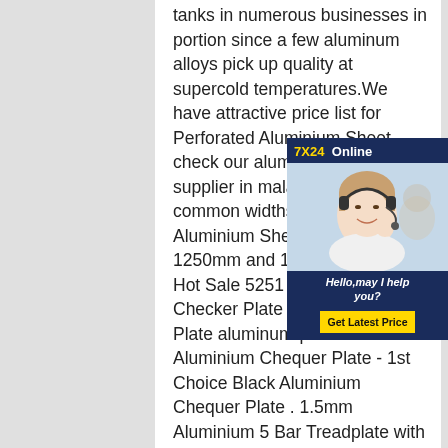tanks in numerous businesses in portion since a few aluminum alloys pick up quality at supercold temperatures.We have attractive price list for Perforated Aluminium Sheet, check our aluminum sheet supplier in malaysia, The common widths of Perforated Aluminium Sheet are 1000mm, 1250mm and 1500mm, whereas Hot Sale 5251 Aluminium Checker Plate Black Aluminium Plate aluminum-productsBlack Aluminium Chequer Plate - 1st Choice Black Aluminium Chequer Plate . 1.5mm Aluminium 5 Bar Treadplate with a powder coated black finish on the patterned face only. 1.5mm thickness is the base plate thickness the chequered pattern sits on top of this.
[Figure (other): Customer service chat widget with '7X24 Online' header in yellow/white on dark blue background, photo of a woman wearing a headset smiling, text 'Hello,may I help you?' and a yellow 'Get Latest Price' button.]